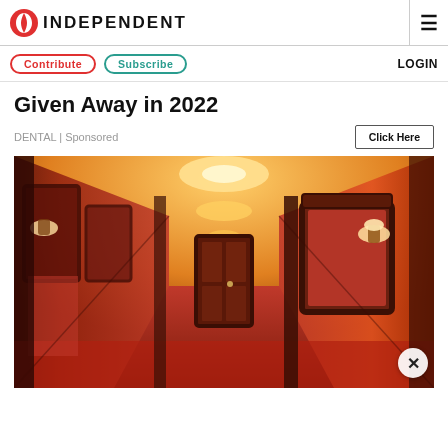INDEPENDENT
Given Away in 2022
DENTAL | Sponsored
[Figure (photo): A luxurious hotel corridor with red carpet, red textured walls, ornate dark wood frames and paneling, warm golden ceiling lights, and wall sconces. The hallway recedes into the distance with multiple doors on either side.]